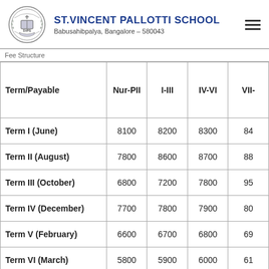ST.VINCENT PALLOTTI SCHOOL, Babusahibpalya, Bangalore – 580043
| Term/Payable | Nur-PII | I-III | IV-VI | VII- |
| --- | --- | --- | --- | --- |
| Term I (June) | 8100 | 8200 | 8300 | 84 |
| Term II (August) | 7800 | 8600 | 8700 | 88 |
| Term III (October) | 6800 | 7200 | 7800 | 95 |
| Term IV (December) | 7700 | 7800 | 7900 | 80 |
| Term V (February) | 6600 | 6700 | 6800 | 69 |
| Term VI (March) | 5800 | 5900 | 6000 | 61 |